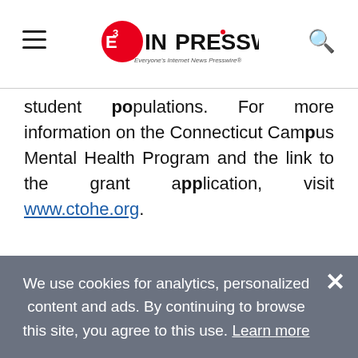EIN Presswire — Everyone's Internet News Presswire
student populations. For more information on the Connecticut Campus Mental Health Program and the link to the grant application, visit www.ctohe.org.
Twitter: @GovNedLamont
Facebook: Office of Governor Ned Lamont
You just read:
We use cookies for analytics, personalized content and ads. By continuing to browse this site, you agree to this use. Learn more